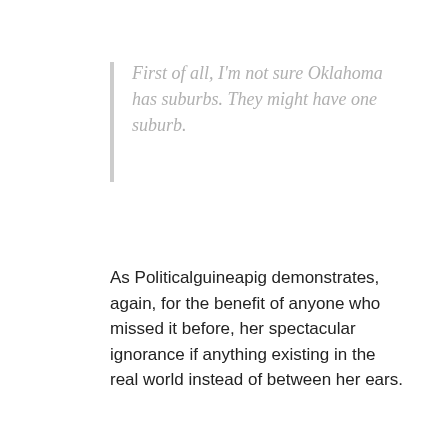First of all, I'm not sure Oklahoma has suburbs. They might have one suburb.
As Politicalguineapig demonstrates, again, for the benefit of anyone who missed it before, her spectacular ignorance if anything existing in the real world instead of between her ears.
Log in to post comments
By LW (not verified) on 05 May 2016 #permalink
@PGP